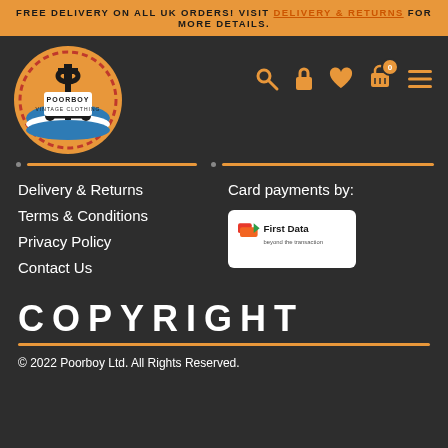FREE DELIVERY ON ALL UK ORDERS! VISIT DELIVERY & RETURNS FOR MORE DETAILS.
[Figure (logo): Poorboy Vintage Clothing logo - circular badge with anchor, waves, and text on orange background]
Delivery & Returns
Terms & Conditions
Privacy Policy
Contact Us
Card payments by:
[Figure (logo): First Data - beyond the transaction logo on white card background]
COPYRIGHT
© 2022 Poorboy Ltd. All Rights Reserved.